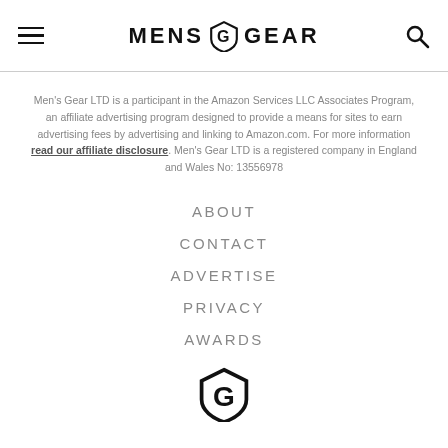MENS GEAR
Men's Gear LTD is a participant in the Amazon Services LLC Associates Program, an affiliate advertising program designed to provide a means for sites to earn advertising fees by advertising and linking to Amazon.com. For more information read our affiliate disclosure. Men's Gear LTD is a registered company in England and Wales No: 13556978
ABOUT
CONTACT
ADVERTISE
PRIVACY
AWARDS
[Figure (logo): Men's Gear logo icon — stylized G with shield shape]